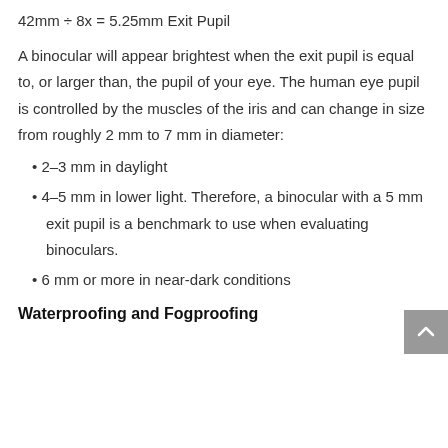A binocular will appear brightest when the exit pupil is equal to, or larger than, the pupil of your eye. The human eye pupil is controlled by the muscles of the iris and can change in size from roughly 2 mm to 7 mm in diameter:
2–3 mm in daylight
4–5 mm in lower light. Therefore, a binocular with a 5 mm exit pupil is a benchmark to use when evaluating binoculars.
6 mm or more in near-dark conditions
Waterproofing and Fogproofing